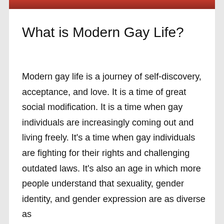[Figure (photo): Partial image strip at top of page, appears to show people, cropped, with red and skin tones visible]
What is Modern Gay Life?
Modern gay life is a journey of self-discovery, acceptance, and love. It is a time of great social modification. It is a time when gay individuals are increasingly coming out and living freely. It’s a time when gay individuals are fighting for their rights and challenging outdated laws. It’s also an age in which more people understand that sexuality, gender identity, and gender expression are as diverse as